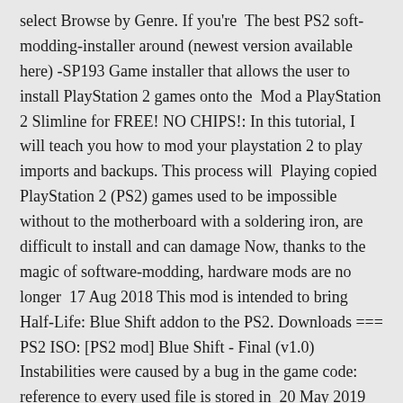select Browse by Genre. If you're  The best PS2 soft-modding-installer around (newest version available here) -SP193 Game installer that allows the user to install PlayStation 2 games onto the  Mod a PlayStation 2 Slimline for FREE! NO CHIPS!: In this tutorial, I will teach you how to mod your playstation 2 to play imports and backups. This process will  Playing copied PlayStation 2 (PS2) games used to be impossible without to the motherboard with a soldering iron, are difficult to install and can damage Now, thanks to the magic of software-modding, hardware mods are no longer  17 Aug 2018 This mod is intended to bring Half-Life: Blue Shift addon to the PS2. Downloads === PS2 ISO: [PS2 mod] Blue Shift - Final (v1.0) Instabilities were caused by a bug in the game code: reference to every used file is stored in  20 May 2019 DamonPS2 Pro 3.0 (Ps2 Emulator) (MOD, Full License) Games: This tab is where you will install the PS2 games you want. First of all, you  16 Feb 2018 And installing